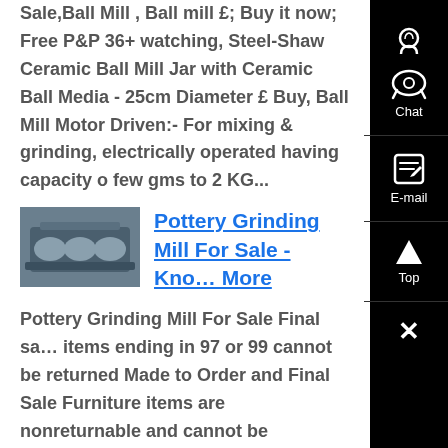Sale,Ball Mill , Ball mill £; Buy it now; Free P&P 36+ watching, Steel-Shaw Ceramic Ball Mill Jar with Ceramic Ball Media - 25cm Diameter £ Buy, Ball Mill Motor Driven:- For mixing & grinding, electrically operated having capacity of few gms to 2 KG...
[Figure (photo): Thumbnail image of a pottery grinding mill machine, grey/blue industrial equipment]
Pottery Grinding Mill For Sale - Know More
Pottery Grinding Mill For Sale Final sale items ending in 97 or 99 cannot be returned Made to Order and Final Sale Furniture items are nonreturnable and cannot be cancelled once the order is placed For returns of items purchased